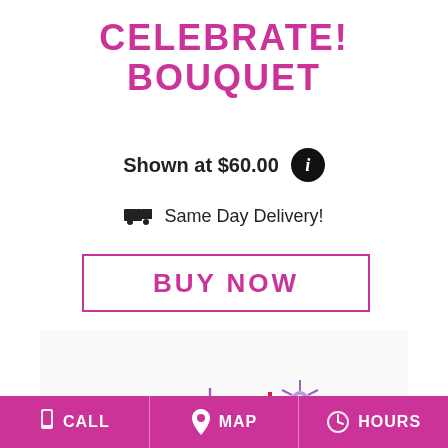CELEBRATE! BOUQUET
Shown at $60.00
Same Day Delivery!
BUY NOW
[Figure (photo): Colorful flower bouquet with pink gerbera daisies, red roses, purple asters, and pink alstroemeria]
CALL   MAP   HOURS